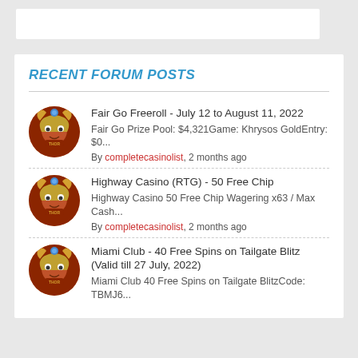RECENT FORUM POSTS
Fair Go Freeroll - July 12 to August 11, 2022
Fair Go Prize Pool: $4,321Game: Khrysos GoldEntry: $0...
By completecasinolist, 2 months ago
Highway Casino (RTG) - 50 Free Chip
Highway Casino 50 Free Chip Wagering x63 / Max Cash...
By completecasinolist, 2 months ago
Miami Club - 40 Free Spins on Tailgate Blitz (Valid till 27 July, 2022)
Miami Club 40 Free Spins on Tailgate BlitzCode: TBMJ6...